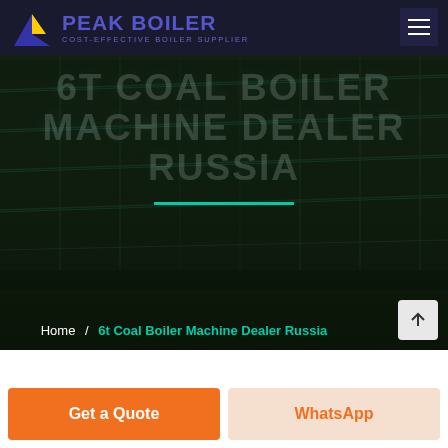[Figure (logo): Peak Boiler logo with blue/yellow triangular icon and purple bold text reading PEAK BOILER with subtitle COST-EFFECTIVE BOILER SUPPLIER]
6T COAL BOILER MACHINE DEALER RUSSIA
[Figure (photo): Dark background photo of an industrial building/factory at night with cyan/teal lighting accents]
Home / 6t Coal Boiler Machine Dealer Russia
Get a Quote
WhatsApp